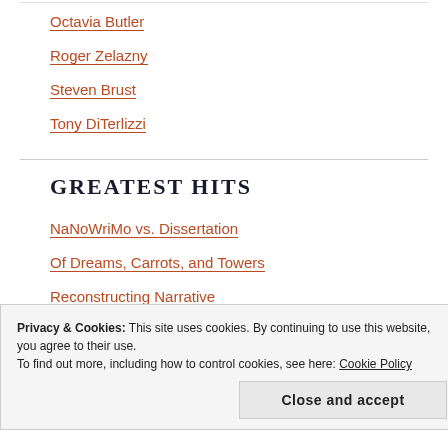Octavia Butler
Roger Zelazny
Steven Brust
Tony DiTerlizzi
GREATEST HITS
NaNoWriMo vs. Dissertation
Of Dreams, Carrots, and Towers
Reconstructing Narrative
Privacy & Cookies: This site uses cookies. By continuing to use this website, you agree to their use.
To find out more, including how to control cookies, see here: Cookie Policy
Close and accept